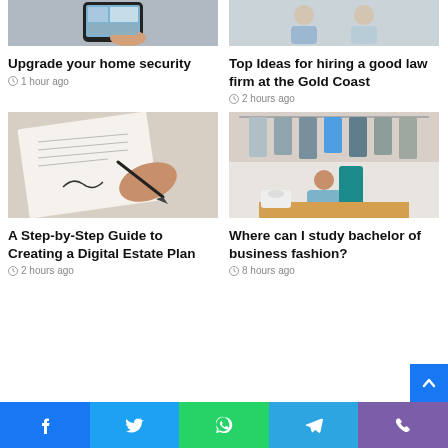[Figure (photo): Hand holding a smartphone showing a home interior, related to home security]
Upgrade your home security
1 hour ago
[Figure (photo): Two men in business attire, related to law firm]
Top Ideas for hiring a good law firm at the Gold Coast
2 hours ago
[Figure (photo): Hand signing a document with a pen, related to digital estate plan]
A Step-by-Step Guide to Creating a Digital Estate Plan
2 hours ago
[Figure (photo): Woman in a fashion studio holding clothes on a rack, studying fashion]
Where can I study bachelor of business fashion?
8 hours ago